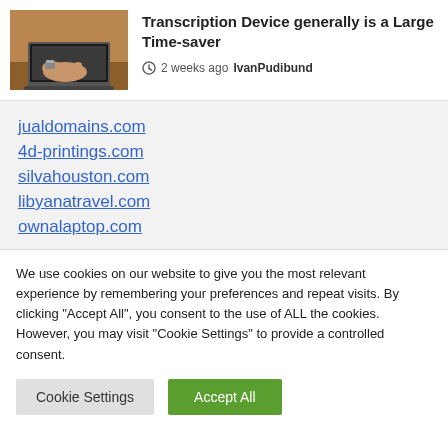[Figure (photo): Person typing on a laptop, wearing a watch, warm tones]
Transcription Device generally is a Large Time-saver
2 weeks ago  IvanPudibund
jualdomains.com
4d-printings.com
silvahouston.com
libyanatravel.com
ownalaptop.com
We use cookies on our website to give you the most relevant experience by remembering your preferences and repeat visits. By clicking "Accept All", you consent to the use of ALL the cookies. However, you may visit "Cookie Settings" to provide a controlled consent.
Cookie Settings  Accept All